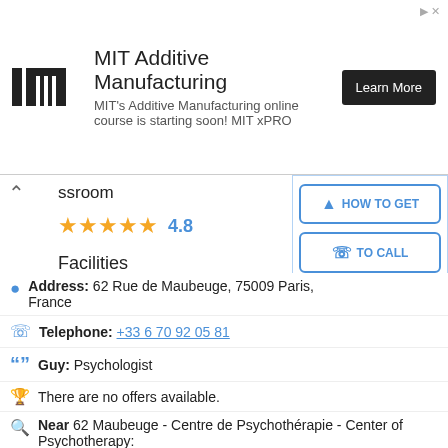[Figure (screenshot): MIT Additive Manufacturing advertisement banner with MIT logo, title text, and Learn More button]
ssroom
★★★★★ 4.8
Facilities
★★★★☆ 4.4
Teachers
★★★★☆ 4.4
HOW TO GET
TO CALL
WHATSAPP
Address: 62 Rue de Maubeuge, 75009 Paris, France
Telephone: +33 6 70 92 05 81
Guy: Psychologist
There are no offers available.
Near 62 Maubeuge - Centre de Psychothérapie - Center of Psychotherapy: